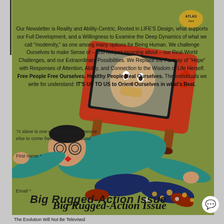[Figure (illustration): Magazine cover illustration showing a retro-style comic image: a person lying on the ground knocked out, with a red vintage television set fallen on top of them, on a green background. The TV screen shows a face. Title reads 'Big Rugged-Action Issue' in bold italic. An Atlas logo badge appears in the upper right of the image.]
Our Newsletter is Reality and Ability-Centric, Rooted in LIFE'S Design, what supports our Full Development, and a Willingness to Examine the Deep Dynamics of what we call "modernity," as one among many options for Being Human. We challenge Ourselves to make Sense of – and not just moaning about – our Real-World Challenges, and our Extraordinary Possibilities. We Replace the Fantasy of "Hope" with Responses of Attention, Ability, and Connection to the Wisdom of Life Herself. Free People Free Ourselves. Healthy People Heal Ourselves. The Individuals we write for understand: IT'S UP TO US to Orient Ourselves in what's Real.
"A slave is one who waits for someone else to come free him." Ezra Pound
First name *
Email *
Big Rugged-Action Issue
The Evolution Will Not Be Televised